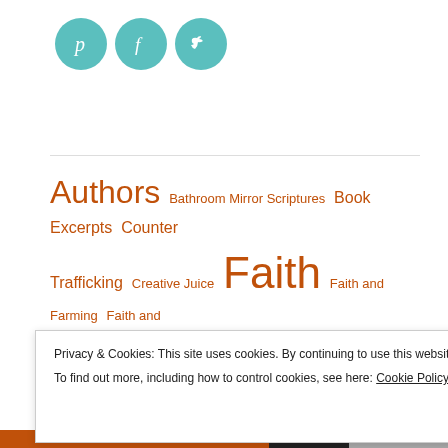[Figure (logo): Three teal circular social media icons: Pinterest (p), Facebook (f), and Twitter (bird)]
Authors  Bathroom Mirror Scriptures  Book Excerpts  Counter Trafficking  Creative Juice  Faith  Faith and Farming  Faith and Feminism  Faith and Ranching  France  God  Good Work  Jesus  LA Dream Center  Love  Love Dinner
Privacy & Cookies: This site uses cookies. By continuing to use this website, you agree to their use. To find out more, including how to control cookies, see here: Cookie Policy
Close and accept